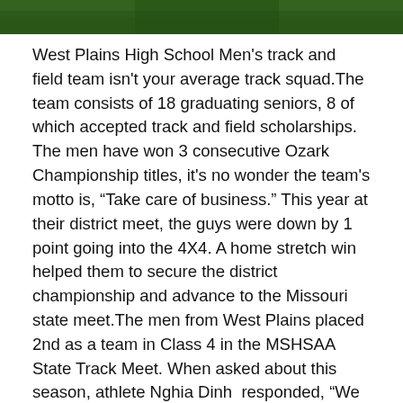[Figure (photo): Green field/grass background image cropped at top of page]
West Plains High School Men's track and field team isn't your average track squad.The team consists of 18 graduating seniors, 8 of which accepted track and field scholarships. The men have won 3 consecutive Ozark Championship titles, it's no wonder the team's motto is, “Take care of business.” This year at their district meet, the guys were down by 1 point going into the 4X4. A home stretch win helped them to secure the district championship and advance to the Missouri state meet.The men from West Plains placed 2nd as a team in Class 4 in the MSHSAA State Track Meet. When asked about this season, athlete Nghia Dinh  responded, “We had a heck of a season!” In conclusion the men finished up as Ozark Conference Champions, District Champions, Sectional Champions, and  had an amazing second place finish at